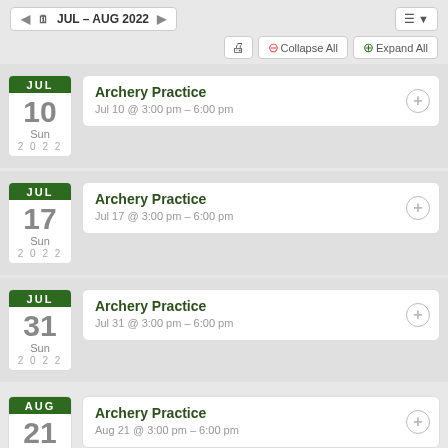JUL – AUG 2022
Archery Practice — Jul 10 @ 3:00 pm – 6:00 pm
Archery Practice — Jul 17 @ 3:00 pm – 6:00 pm
Archery Practice — Jul 31 @ 3:00 pm – 6:00 pm
Archery Practice — Aug 21 @ 3:00 pm – 6:00 pm
Archery Practice — Aug 28